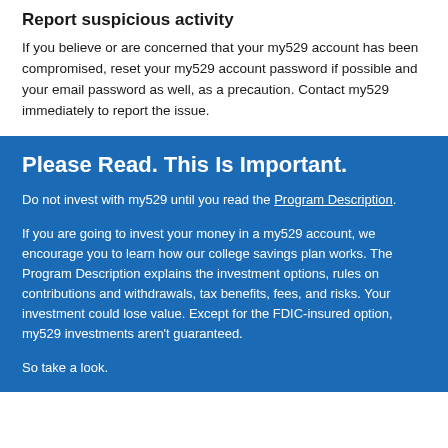Report suspicious activity
If you believe or are concerned that your my529 account has been compromised, reset your my529 account password if possible and your email password as well, as a precaution. Contact my529 immediately to report the issue.
Please Read. This Is Important.
Do not invest with my529 until you read the Program Description.
If you are going to invest your money in a my529 account, we encourage you to learn how our college savings plan works. The Program Description explains the investment options, rules on contributions and withdrawals, tax benefits, fees, and risks. Your investment could lose value. Except for the FDIC-insured option, my529 investments aren't guaranteed.
So take a look.